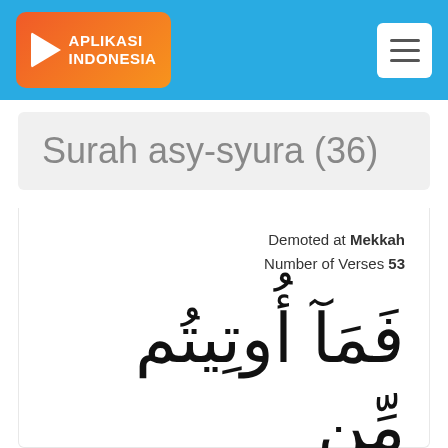[Figure (logo): Aplikasi Indonesia logo with play button triangle on orange-red gradient background]
Surah asy-syura (36)
Demoted at Mekkah
Number of Verses 53
فَمَآ أُوتِيتُم مِّن شَيْءٍ فَمَتَٰعُ الْحَيَٰوةِ